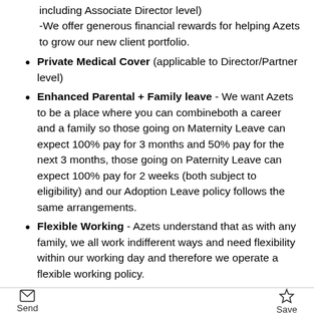including Associate Director level)
-We offer generous financial rewards for helping Azets to grow our new client portfolio.
Private Medical Cover (applicable to Director/Partner level)
Enhanced Parental + Family leave - We want Azets to be a place where you can combineboth a career and a family so those going on Maternity Leave can expect 100% pay for 3 months and 50% pay for the next 3 months, those going on Paternity Leave can expect 100% pay for 2 weeks (both subject to eligibility) and our Adoption Leave policy follows the same arrangements.
Flexible Working - Azets understand that as with any family, we all work indifferent ways and need flexibility within our working day and therefore we operate a flexible working policy.
Life Assurance - 4 times salary
Send  Save